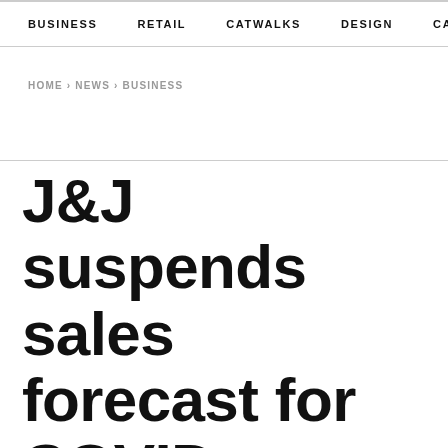BUSINESS   RETAIL   CATWALKS   DESIGN   CAMI  >
HOME › NEWS › BUSINESS
J&J suspends sales forecast for COVID vaccine, cuts profit view